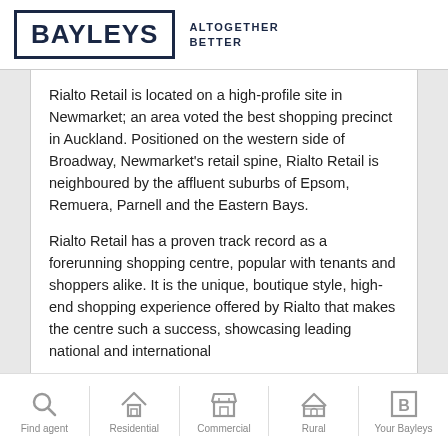BAYLEYS ALTOGETHER BETTER
Rialto Retail is located on a high-profile site in Newmarket; an area voted the best shopping precinct in Auckland. Positioned on the western side of Broadway, Newmarket's retail spine, Rialto Retail is neighboured by the affluent suburbs of Epsom, Remuera, Parnell and the Eastern Bays.
Rialto Retail has a proven track record as a forerunning shopping centre, popular with tenants and shoppers alike. It is the unique, boutique style, high-end shopping experience offered by Rialto that makes the centre such a success, showcasing leading national and international
Find agent | Residential | Commercial | Rural | Your Bayleys